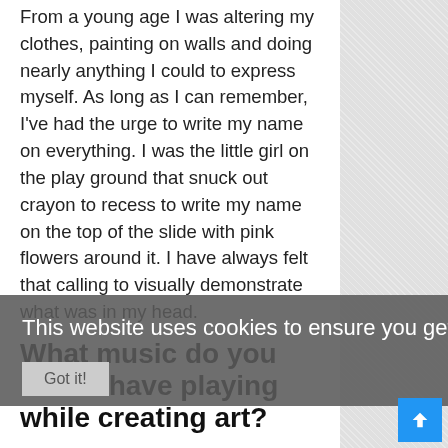From a young age I was altering my clothes, painting on walls and doing nearly anything I could to express myself. As long as I can remember, I've had the urge to write my name on everything. I was the little girl on the play ground that snuck out crayon to recess to write my name on the top of the slide with pink flowers around it. I have always felt that calling to visually demonstrate what was in my head.
What music do you like to have playing while creating art?
My music selections vary tremendously, especially while I'm painting. It could range from Buddy Holly to DJ Screw. I generally listen to long DJ sets because they flow better with my process. Gabriel & Dresden, Killaka5, Armin Van Buren and Ferry Corsten are my usual go-to's
This website uses cookies to ensure you get the best experience on our website.